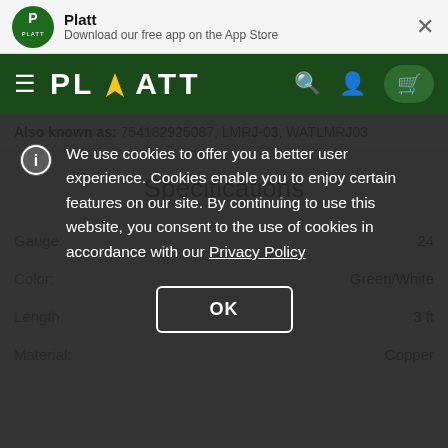Platt — Download our free app on the App Store
PLATT navigation bar
Also known as: 754182925087, LMRJ-03, WATLMRJ03
Specifications
We use cookies to offer you a better user experience. Cookies enable you to enjoy certain features on our site. By continuing to use this website, you consent to the use of cookies in accordance with our Privacy Policy
| Attribute | Value |
| --- | --- |
| Gauge: | 24 |
| Color: | Green/White |
| Length: | 3 ft |
| Material: | Copper |